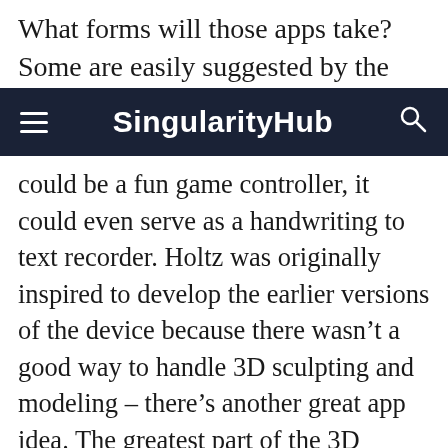What forms will those apps take? Some are easily suggested by the demos. The Leap
[Figure (screenshot): SingularityHub navigation bar with hamburger menu icon on the left, 'SingularityHub' title in center, and search icon on the right, all on a dark navy background.]
could be a fun game controller, it could even serve as a handwriting to text recorder. Holtz was originally inspired to develop the earlier versions of the device because there wasn't a good way to handle 3D sculpting and modeling – there's another great app idea. The greatest part of the 3D market space, however, is yet to be explored. That's as it should be, because it will take the industry a while to really understand for what kind of applications this hyper-accurate short range 3D tracking is best suited.
What the first...